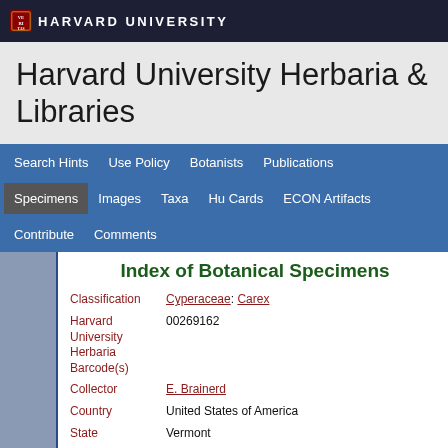HARVARD UNIVERSITY
Harvard University Herbaria & Libraries
Search Hints  Use Policy  Botanists  Publications  Specimens  Images  Taxa  Hu Cards  ECON Artifacts  Contribute  Comments
Index of Botanical Specimens
| Field | Value |
| --- | --- |
| Classification | Cyperaceae: Carex |
| Harvard University Herbaria Barcode(s) | 00269162 |
| Collector | E. Brainerd |
| Country | United States of America |
| State | Vermont |
| Geography | North America: North America (CA, US, MX) (Region): United States of America: Vermont: Addison County |